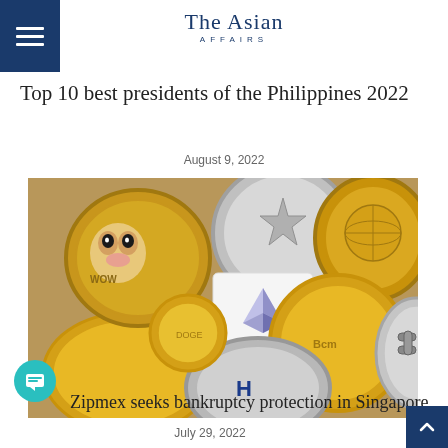The Asian Affairs
Top 10 best presidents of the Philippines 2022
August 9, 2022
[Figure (photo): A collection of various cryptocurrency coins including Dogecoin, Ethereum, Bitcoin, and others, piled together showing gold and silver metallic coins.]
Zipmex seeks bankruptcy protection in Singapore
July 29, 2022